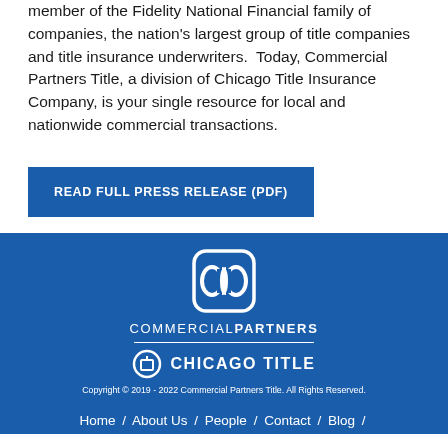member of the Fidelity National Financial family of companies, the nation's largest group of title companies and title insurance underwriters. Today, Commercial Partners Title, a division of Chicago Title Insurance Company, is your single resource for local and nationwide commercial transactions.
READ FULL PRESS RELEASE (PDF)
[Figure (logo): Commercial Partners / Chicago Title logo with icon on blue background]
Copyright © 2019 - 2022 Commercial Partners Title. All Rights Reserved.
Home / About Us / People / Contact / Blog /